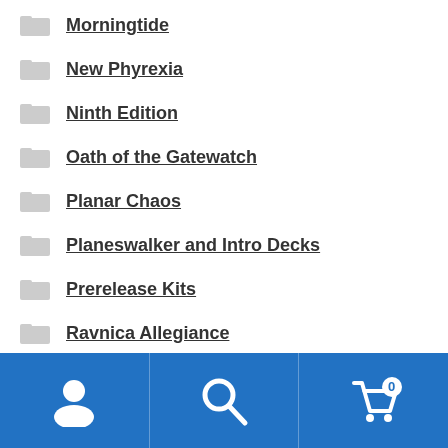Morningtide
New Phyrexia
Ninth Edition
Oath of the Gatewatch
Planar Chaos
Planeswalker and Intro Decks
Prerelease Kits
Ravnica Allegiance
Red
Return To Ravnica
Rivals of Ixalan
Saviours of Kamigawa